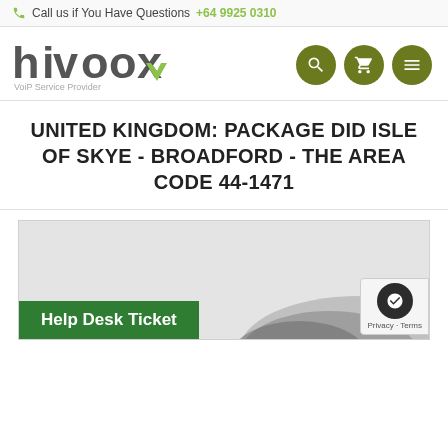Call us if You Have Questions +64 9925 0310
[Figure (logo): hivoox VoiP Service Provider logo with green accent on the 'x']
UNITED KINGDOM: PACKAGE DID ISLE OF SKYE - BROADFORD - THE AREA CODE 44-1471
[Figure (photo): Product image area showing partial view of a phone/headset in gray tones]
Help Desk Ticket